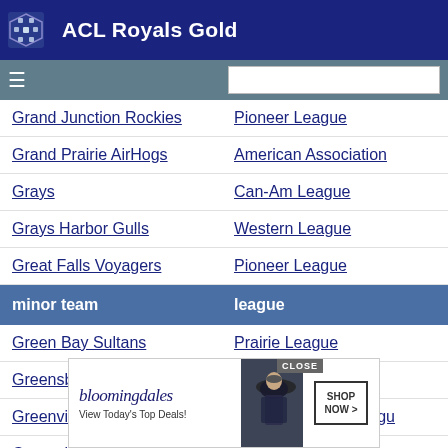ACL Royals Gold
| minor team | league |
| --- | --- |
| Grand Junction Rockies | Pioneer League |
| Grand Prairie AirHogs | American Association |
| Grays | Can-Am League |
| Grays Harbor Gulls | Western League |
| Great Falls Voyagers | Pioneer League |
| Green Bay Sultans | Prairie League |
| Greensboro Hornets | Western Carolinas |
| Greenville Bluesmen | Texas-Lousiana League |
| Greenville Bluesmen | Big South League |
| Greenwood Braves | Western Carolinas |
| Greenwood Grizzlies | Atlantic League |
| Guada... | ...e |
[Figure (screenshot): Bloomingdale's advertisement banner with 'View Today's Top Deals!' tagline, CLOSE button, and SHOP NOW button, featuring a woman in a hat.]